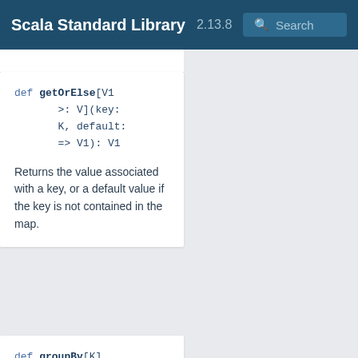Scala Standard Library 2.13.8 Search
def getOrElse[V1 >: V](key: K, default: => V1): V1
Returns the value associated with a key, or a default value if the key is not contained in the map.
def groupBy[K](f: ((K, V)) => K): Map[K, Map[K, V]]
Partitions this immutable map into a map of